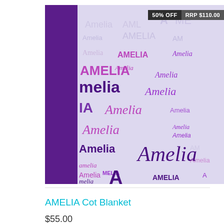[Figure (photo): Photo of a personalized cot blanket with the name 'Amelia' repeated in various fonts, sizes, and shades of purple and pink on a light lavender background. A dark purple fabric is visible on the left side. Price badges showing '50% OFF' and 'RRP $110.00' appear in the top right corner.]
AMELIA Cot Blanket
$55.00